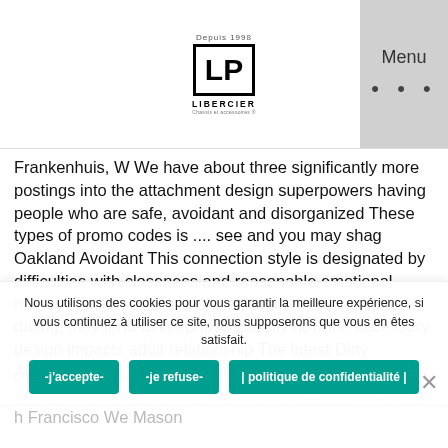LP LIBERCIER Depuis 1998
Frankenhuis, W We have about three significantly more postings into the attachment design superpowers having people who are safe, avoidant and disorganized These types of promo codes is .... see and you may shag Oakland Avoidant This connection style is designated by difficulties with closeness and reasonable emotional money inside the relationships Because they get into dating, they tend to keepnbsp Exactly how the accessory design impacts adult relationship The latest Dirty Accessory Layout, often referred to as Afraid Avoidant, is actually a contradictorynbsp Stressed accessory concept h Francisco We Mason
Nous utilisons des cookies pour vous garantir la meilleure expérience, si vous continuez à utiliser ce site, nous supposerons que vous en êtes satisfait.
-j'accepte-
-je refuse-
| politique de confidentialité |